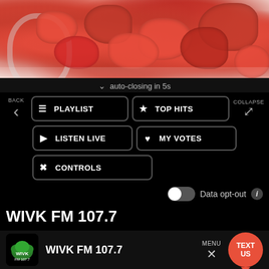[Figure (photo): Photo of red sugary gummy candy pieces spilling from a glass jar on white background]
auto-closing in 5s
BACK
PLAYLIST
TOP HITS
COLLAPSE
LISTEN LIVE
MY VOTES
CONTROLS
Data opt-out
WIVK FM 107.7
WIVK FM 107.7
MENU
TEXT US